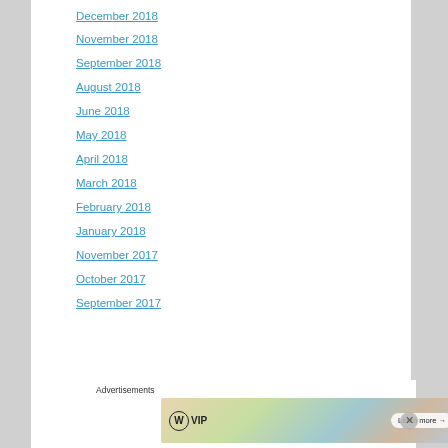December 2018
November 2018
September 2018
August 2018
June 2018
May 2018
April 2018
March 2018
February 2018
January 2018
November 2017
October 2017
September 2017
Advertisements
[Figure (other): WordPress VIP advertisement banner with 'Learn more' button and decorative background of overlapping cards/icons]